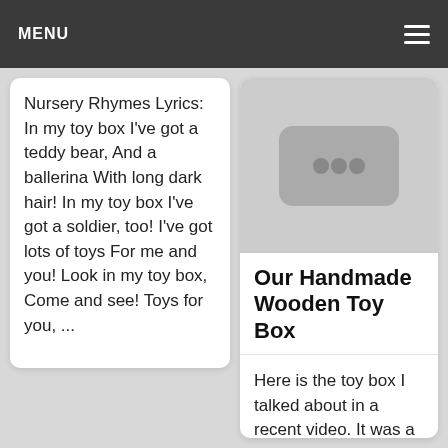MENU
Nursery Rhymes Lyrics: In my toy box I've got a teddy bear, And a ballerina With long dark hair! In my toy box I've got a soldier, too! I've got lots of toys For me and you! Look in my toy box, Come and see! Toys for you, ...
[Figure (other): Video thumbnail placeholder with three dots icon on gray background]
Our Handmade Wooden Toy Box
Here is the toy box I talked about in a recent video. It was a Christmas present for N from my stepdad. (Side note- I'm sorry about the poor lighting. We're having a bad rain storm and it's really dark outside.) Find